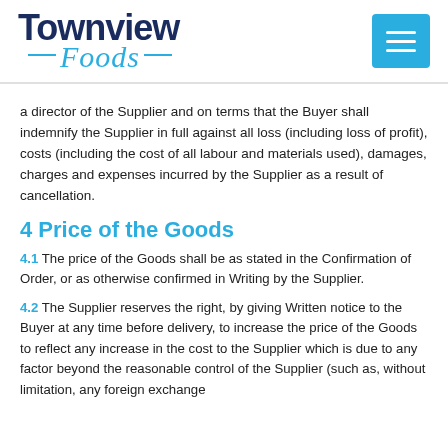[Figure (logo): Townview Foods logo with dark blue bold text 'Townview' and cursive blue 'Foods' with dashes, plus a blue hamburger menu button in top right]
a director of the Supplier and on terms that the Buyer shall indemnify the Supplier in full against all loss (including loss of profit), costs (including the cost of all labour and materials used), damages, charges and expenses incurred by the Supplier as a result of cancellation.
4 Price of the Goods
4.1 The price of the Goods shall be as stated in the Confirmation of Order, or as otherwise confirmed in Writing by the Supplier.
4.2 The Supplier reserves the right, by giving Written notice to the Buyer at any time before delivery, to increase the price of the Goods to reflect any increase in the cost to the Supplier which is due to any factor beyond the reasonable control of the Supplier (such as, without limitation, any foreign exchange